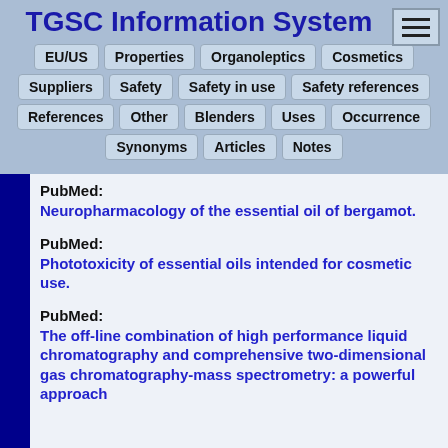TGSC Information System
EU/US  Properties  Organoleptics  Cosmetics  Suppliers  Safety  Safety in use  Safety references  References  Other  Blenders  Uses  Occurrence  Synonyms  Articles  Notes
PubMed:
Neuropharmacology of the essential oil of bergamot.
PubMed:
Phototoxicity of essential oils intended for cosmetic use.
PubMed:
The off-line combination of high performance liquid chromatography and comprehensive two-dimensional gas chromatography-mass spectrometry: a powerful approach